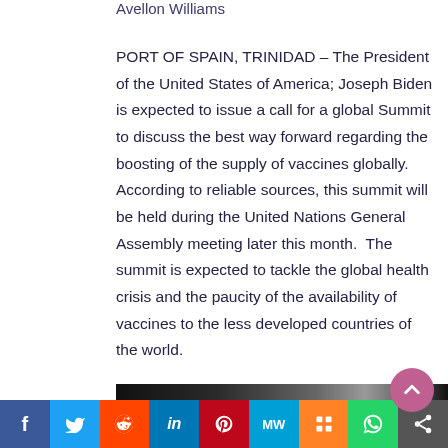Avellon Williams
PORT OF SPAIN, TRINIDAD – The President of the United States of America; Joseph Biden is expected to issue a call for a global Summit to discuss the best way forward regarding the boosting of the supply of vaccines globally. According to reliable sources, this summit will be held during the United Nations General Assembly meeting later this month.  The summit is expected to tackle the global health crisis and the paucity of the availability of vaccines to the less developed countries of the world.
[Figure (photo): Partial photograph visible at bottom of article]
Social sharing bar with icons: Facebook, Twitter, Reddit, LinkedIn, Pinterest, MW, Mix, WhatsApp, Share